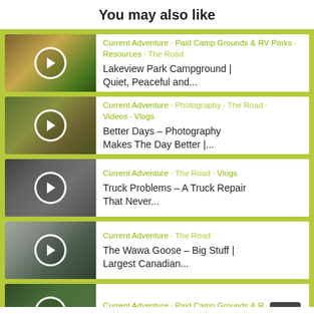You may also like
Current Adventure • Paid Camp Grounds & RV Parks • Resources • The Road
Lakeview Park Campground | Quiet, Peaceful and...
Current Adventure • Photography • The Road • Videos • Vlogs
Better Days – Photography Makes The Day Better |...
Current Adventure • The Road • Vlogs
Truck Problems – A Truck Repair That Never...
Current Adventure • The Road
The Wawa Goose – Big Stuff | Largest Canadian...
Current Adventure • Paid Camp Grounds & R... Parks • Resources • The Road